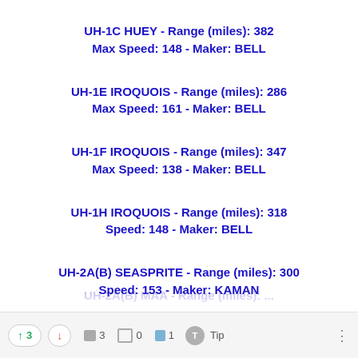UH-1C HUEY - Range (miles): 382
Max Speed: 148 - Maker: BELL
UH-1E IROQUOIS - Range (miles): 286
Max Speed: 161 - Maker: BELL
UH-1F IROQUOIS - Range (miles): 347
Max Speed: 138 - Maker: BELL
UH-1H IROQUOIS - Range (miles): 318
Speed: 148 - Maker: BELL
UH-2A(B) SEASPRITE - Range (miles): 300
Speed: 153 - Maker: KAMAN
↑ 3  ↓  □ 3  □ 0  □ 1  Tip  ···